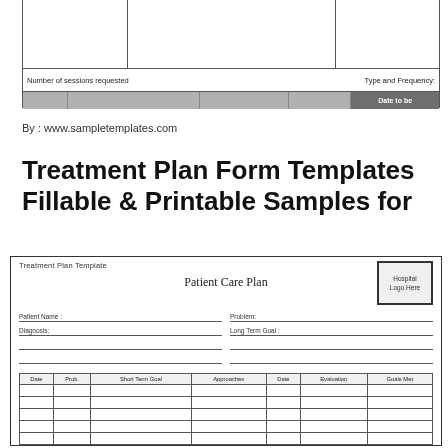[Figure (other): Partial cropped table from a treatment plan form showing 'Number of sessions requested', 'Type and Frequency', and a shaded header row with 'Date to be' visible]
By : www.sampletemplates.com
Treatment Plan Form Templates Fillable & Printable Samples for
[Figure (other): Treatment Plan Template document showing 'Patient Care Plan' header with Hospital Logo Here box, fields for Patient Name, Diagnosis, Problem, Long Term Goal, and a table with columns: Date, Prob., Short Term Goal, Approaches, Date, Evaluation, Goals Met]